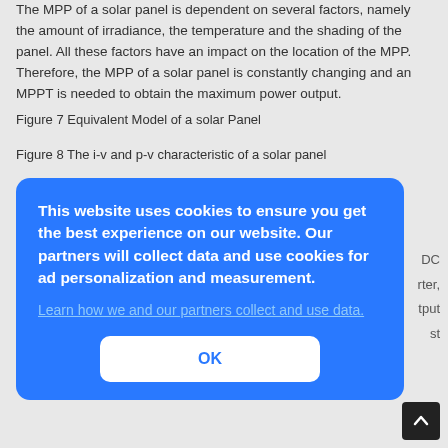The MPP of a solar panel is dependent on several factors, namely the amount of irradiance, the temperature and the shading of the panel. All these factors have an impact on the location of the MPP. Therefore, the MPP of a solar panel is constantly changing and an MPPT is needed to obtain the maximum power output.
Figure 7 Equivalent Model of a solar Panel
Figure 8 The i-v and p-v characteristic of a solar panel
[Figure (screenshot): Cookie consent banner overlay with blue background. Text reads: 'This website uses cookies to ensure you get the best experience on our website. Our partners will collect data and use cookies for ad personalization and measurement.' with a link 'Learn how we and our partners collect and use data.' and an OK button. Partially visible background text shows: 'DC', 'rter,', 'tput', 'st'. A scroll-to-top button is visible in the bottom right corner.]